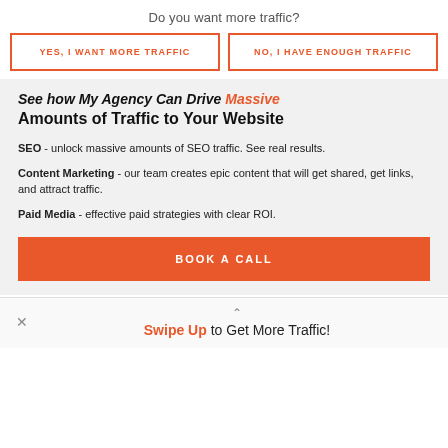Do you want more traffic?
YES, I WANT MORE TRAFFIC
NO, I HAVE ENOUGH TRAFFIC
See how My Agency Can Drive Massive Amounts of Traffic to Your Website
SEO - unlock massive amounts of SEO traffic. See real results.
Content Marketing - our team creates epic content that will get shared, get links, and attract traffic.
Paid Media - effective paid strategies with clear ROI.
BOOK A CALL
Swipe Up to Get More Traffic!